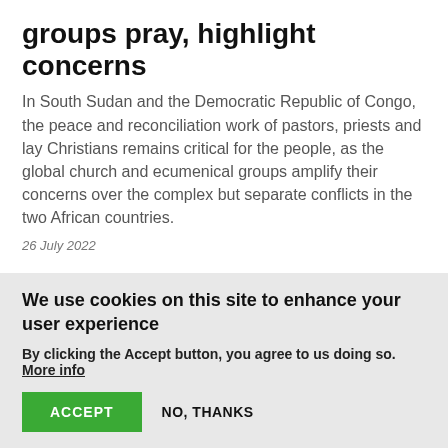groups pray, highlight concerns
In South Sudan and the Democratic Republic of Congo, the peace and reconciliation work of pastors, priests and lay Christians remains critical for the people, as the global church and ecumenical groups amplify their concerns over the complex but separate conflicts in the two African countries.
26 July 2022
DOCUMENT
We use cookies on this site to enhance your user experience
By clicking the Accept button, you agree to us doing so. More info
ACCEPT
NO, THANKS